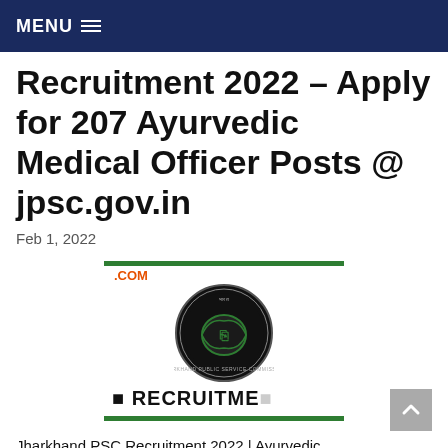MENU
Recruitment 2022 – Apply for 207 Ayurvedic Medical Officer Posts @ jpsc.gov.in
Feb 1, 2022
[Figure (logo): JPSC (Jharkhand Public Service Commission) recruitment card with green horizontal lines top and bottom, circular official logo in center, and text 'RECRUITMENT' below logo. 'COM' label in orange at top left.]
Jharkhand PSC Recruitment 2022 | Ayurvedic